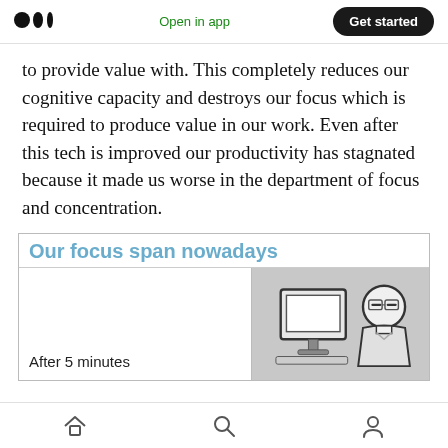Medium app nav bar: logo, Open in app, Get started
to provide value with. This completely reduces our cognitive capacity and destroys our focus which is required to produce value in our work. Even after this tech is improved our productivity has stagnated because it made us worse in the department of focus and concentration.
[Figure (illustration): Meme image with title 'Our focus span nowadays', left panel showing 'After 5 minutes' text, right panel showing a bored cartoon figure sitting at a computer desk]
Bottom navigation bar with home, search, and profile icons